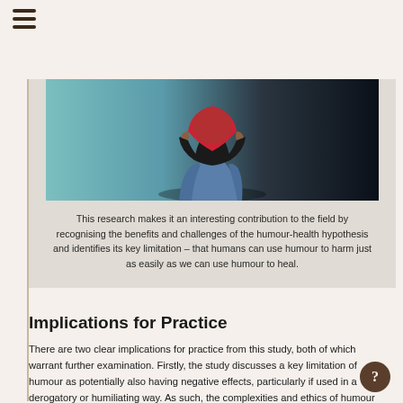[Figure (photo): Person sitting on floor holding a red book/heart shape in front of their face, wearing black top and blue jeans, against a dark background with teal/blue wall visible on left]
This research makes it an interesting contribution to the field by recognising the benefits and challenges of the humour-health hypothesis and identifies its key limitation – that humans can use humour to harm just as easily as we can use humour to heal.
Implications for Practice
There are two clear implications for practice from this study, both of which warrant further examination. Firstly, the study discusses a key limitation of humour as potentially also having negative effects, particularly if used in a derogatory or humiliating way. As such, the complexities and ethics of humour need to be considered and managed appropriately should it be used as an effective practice tool. Secondly, though there is possibly some merit in introducing humour into the social care training curriculum, this needs further examination to identify its various complexities to foster the greatest benefit in practice.